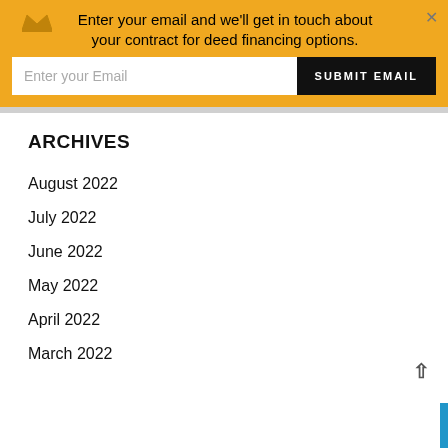Enter your email and we'll get in touch about your contract for deed financing options.
ARCHIVES
August 2022
July 2022
June 2022
May 2022
April 2022
March 2022